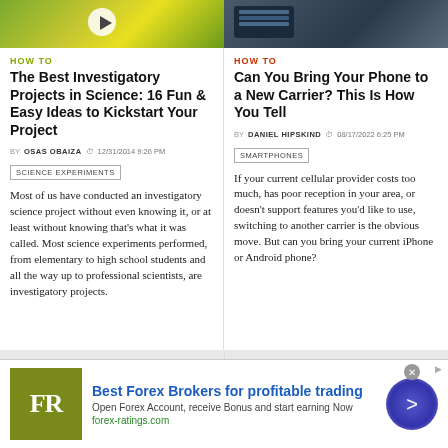[Figure (photo): Two side-by-side article thumbnail images: left shows green/yellow fruits with play button overlay, right shows smartphone on dark surface]
HOW TO
The Best Investigatory Projects in Science: 16 Fun & Easy Ideas to Kickstart Your Project
BY OSAS OBAIZA  12/31/2014 9:26 PM
SCIENCE EXPERIMENTS
Most of us have conducted an investigatory science project without even knowing it, or at least without knowing that's what it was called. Most science experiments performed, from elementary to high school students and all the way up to professional scientists, are investigatory projects.
HOW TO
Can You Bring Your Phone to a New Carrier? This Is How You Tell
BY DANIEL HIPSKIND  08/17/2022 6:25 PM
SMARTPHONES
If your current cellular provider costs too much, has poor reception in your area, or doesn't support features you'd like to use, switching to another carrier is the obvious move. But can you bring your current iPhone or Android phone?
[Figure (infographic): Advertisement banner: FR logo (olive green square), Best Forex Brokers for profitable trading, Open Forex Account receive Bonus and start earning Now, forex-ratings.com, with circular CTA button]